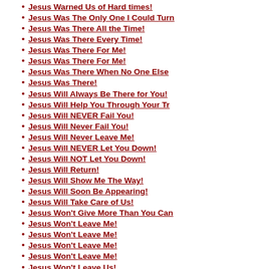Jesus Warned Us of Hard times!
Jesus Was The Only One I Could Turn
Jesus Was There All the Time!
Jesus Was There Every Time!
Jesus Was There For Me!
Jesus Was There For Me!
Jesus Was There When No One Else
Jesus Was There!
Jesus Will Always Be There for You!
Jesus Will Help You Through Your Tr
Jesus Will NEVER Fail You!
Jesus Will Never Fail You!
Jesus Will Never Leave Me!
Jesus Will NEVER Let You Down!
Jesus Will NOT Let You Down!
Jesus Will Return!
Jesus Will Show Me The Way!
Jesus Will Soon Be Appearing!
Jesus Will Take Care of Us!
Jesus Won't Give More Than You Can
Jesus Won't Leave Me!
Jesus Won't Leave Me!
Jesus Won't Leave Me!
Jesus Won't Leave Me!
Jesus Won't Leave Us!
Jesus' Love Is for You!
Jesus' Gift of Salvation Is Free!
Jesus' Love Applied To Us!
Jesus' Love Is Meant For YOU!
Jesus' Love Is Overflowing!